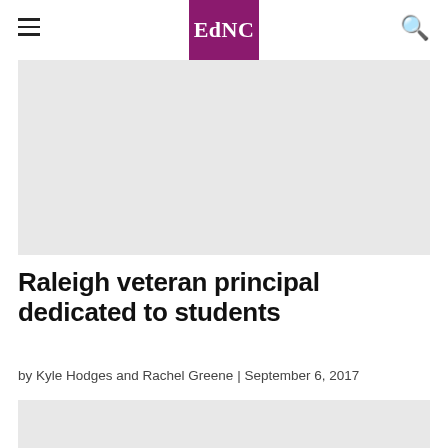EdNC
[Figure (photo): Hero image placeholder, light gray background]
Raleigh veteran principal dedicated to students
by Kyle Hodges and Rachel Greene | September 6, 2017
[Figure (photo): Secondary image placeholder, light gray background]